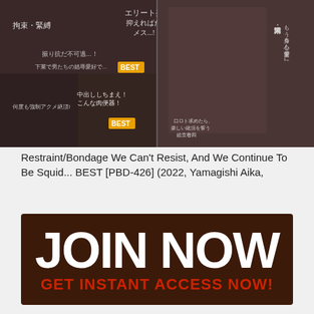[Figure (photo): Two-panel collage of Japanese adult video covers showing bondage/restraint themed content with Japanese text overlays]
Restraint/Bondage We Can't Resist, And We Continue To Be Squid... BEST [PBD-426] (2022, Yamagishi Aika,
[Figure (infographic): Dark brown JOIN NOW banner with white large text and red subtitle GET INSTANT ACCESS NOW!]